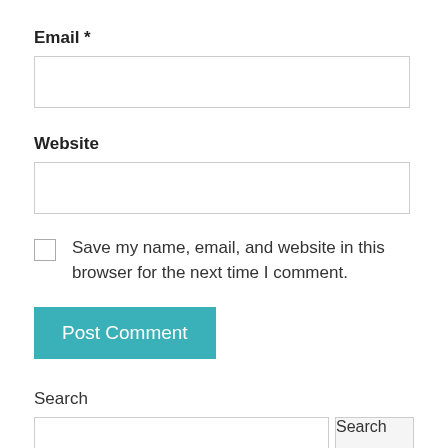Email *
[Figure (other): Empty email input text field]
Website
[Figure (other): Empty website input text field]
Save my name, email, and website in this browser for the next time I comment.
Post Comment
Search
[Figure (other): Search input field with Search button]